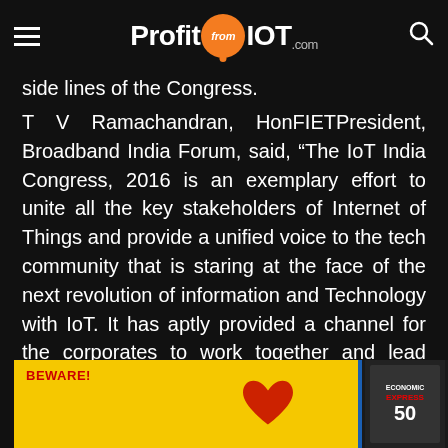ProfitfromIOT.com
side lines of the Congress.
T V Ramachandran, HonFIETPresident, Broadband India Forum, said, “The IoT India Congress, 2016 is an exemplary effort to unite all the key stakeholders of Internet of Things and provide a unified voice to the tech community that is staring at the face of the next revolution of information and Technology with IoT. It has aptly provided a channel for the corporates to work together and lead India towards being a digitally empowered economy.”
[Figure (other): Advertisement banner with yellow background showing BEWARE! text in red, a red heart graphic, and an Economic Express magazine cover.]